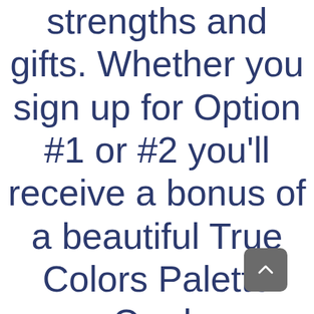strengths and gifts. Whether you sign up for Option #1 or #2 you'll receive a bonus of a beautiful True Colors Palette Card:
[Figure (other): A dark gray rounded rectangle button with an upward-pointing chevron arrow, used as a scroll-up UI element.]